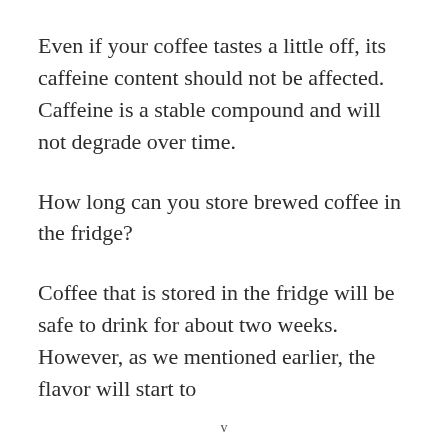Even if your coffee tastes a little off, its caffeine content should not be affected. Caffeine is a stable compound and will not degrade over time.
How long can you store brewed coffee in the fridge?
Coffee that is stored in the fridge will be safe to drink for about two weeks. However, as we mentioned earlier, the flavor will start to
v